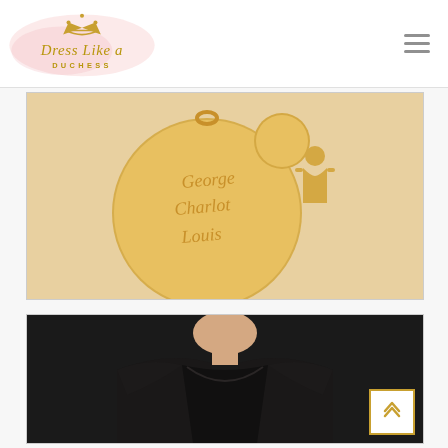[Figure (logo): Dress Like a Duchess logo with gold crown and pink watercolor background]
[Figure (photo): Close-up of gold circular pendant charm engraved with names George, Charlotte, Louis, with a girl silhouette charm]
[Figure (photo): Woman wearing a black off-shoulder dress, cropped view showing neckline and upper body]